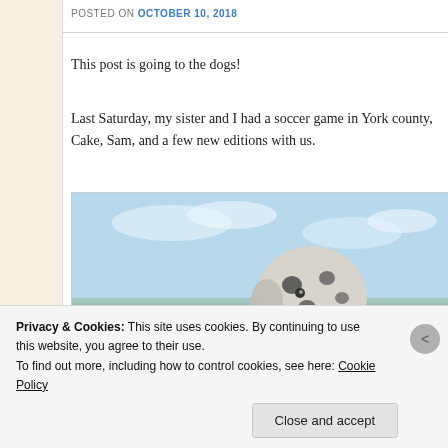POSTED ON OCTOBER 10, 2018
This post is going to the dogs!
Last Saturday, my sister and I had a soccer game in York county, Cake, Sam, and a few new editions with us.
[Figure (photo): Outdoor photo of a Dalmatian dog against blurred water/sky background]
Privacy & Cookies: This site uses cookies. By continuing to use this website, you agree to their use.
To find out more, including how to control cookies, see here: Cookie Policy
Close and accept